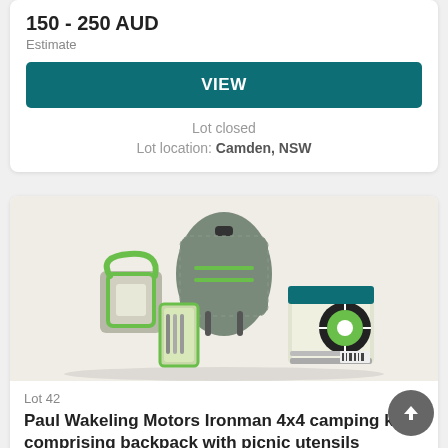150 - 250 AUD
Estimate
VIEW
Lot closed
Lot location: Camden, NSW
[Figure (photo): Camping kit comprising a grey and green backpack, a portable LED lantern with green handle, a cutlery/utensil set in green packaging, and a round portable LED light, all displayed on a white background.]
Lot 42
Paul Wakeling Motors Ironman 4x4 camping kit comprising backpack with picnic utensils